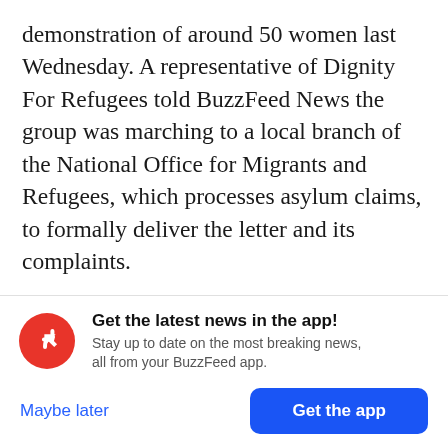demonstration of around 50 women last Wednesday. A representative of Dignity For Refugees told BuzzFeed News the group was marching to a local branch of the National Office for Migrants and Refugees, which processes asylum claims, to formally deliver the letter and its complaints.
Held said the police questioned women in that group, and also went to the refugee home, that night.
[Figure (infographic): BuzzFeed News app promotion notification banner with red circular logo containing a white upward arrow, bold text 'Get the latest news in the app!', subtitle 'Stay up to date on the most breaking news, all from your BuzzFeed app.', a 'Maybe later' blue text link and a 'Get the app' blue rounded button.]